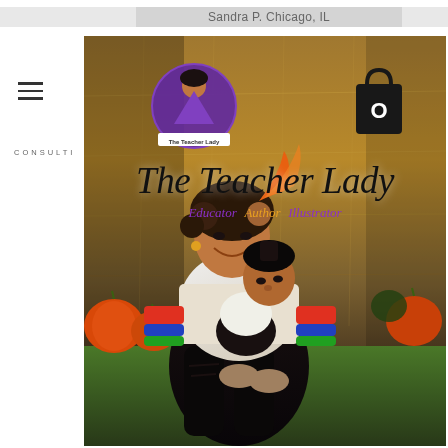Sandra P. Chicago, IL
[Figure (photo): A woman and young child sitting on hay bales in a pumpkin patch, posing for a fall/Halloween photo. The woman is smiling and holding the child. Pumpkins and hay are visible in the background. The photo has overlay graphics including 'The Teacher Lady' logo and branding text.]
CONSULTING
The Teacher Lady
Educator  Author  Illustrator